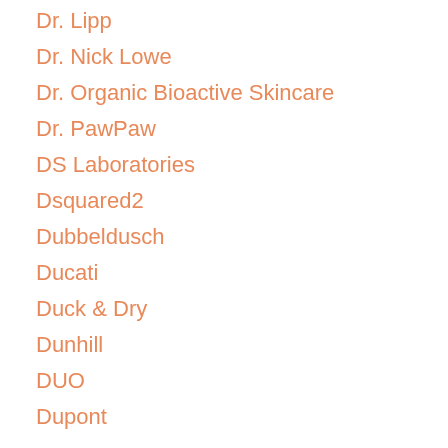Dr. Lipp
Dr. Nick Lowe
Dr. Organic Bioactive Skincare
Dr. PawPaw
DS Laboratories
Dsquared2
Dubbeldusch
Ducati
Duck & Dry
Dunhill
DUO
Dupont